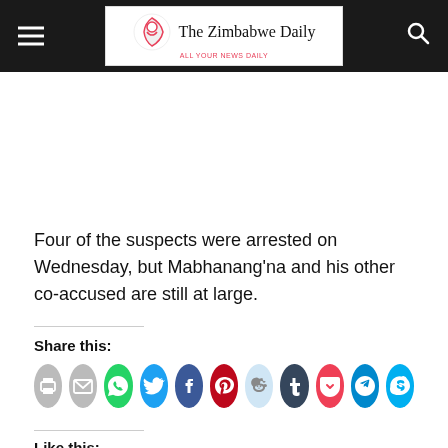The Zimbabwe Daily
Four of the suspects were arrested on Wednesday, but Mabhanang'na and his other co-accused are still at large.
Share this:
[Figure (other): Social share buttons: print, email, WhatsApp, Twitter, Facebook, Pinterest, Reddit, Tumblr, Pocket, Telegram, Skype]
Like this: